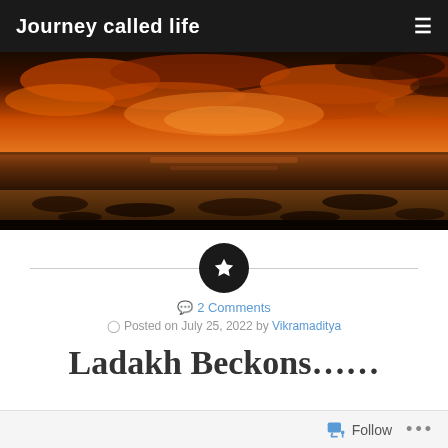Journey called life
[Figure (photo): Sunset over a beach/shore with vivid orange and red clouds reflected in wet sand and shallow water]
2 Comments
Posted on July 25, 2022 by Vikramaditya
Ladakh Beckons……
Follow